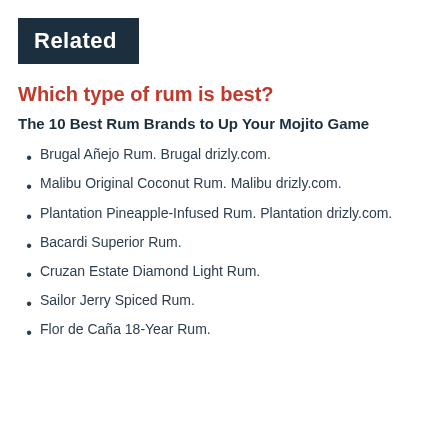Related
Which type of rum is best?
The 10 Best Rum Brands to Up Your Mojito Game
Brugal Añejo Rum. Brugal drizly.com.
Malibu Original Coconut Rum. Malibu drizly.com.
Plantation Pineapple-Infused Rum. Plantation drizly.com.
Bacardi Superior Rum.
Cruzan Estate Diamond Light Rum.
Sailor Jerry Spiced Rum.
Flor de Caña 18-Year Rum.